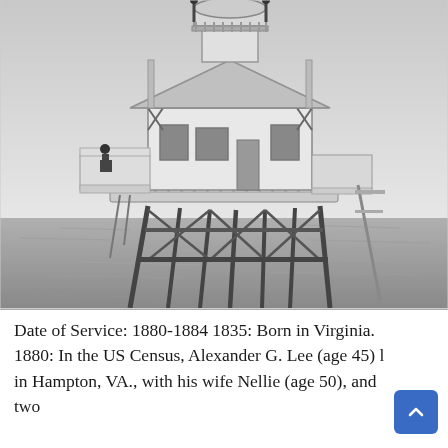[Figure (photo): Black and white photograph of a lighthouse structure built on stilts over water. The building has a Victorian-style design with a wraparound porch, decorative woodwork, pitched roof, and a lamp room at the top with railings. Metal support legs extend into the ocean below.]
Date of Service: 1880-1884 1835: Born in Virginia. 1880: In the US Census, Alexander G. Lee (age 45) l in Hampton, VA., with his wife Nellie (age 50), and two